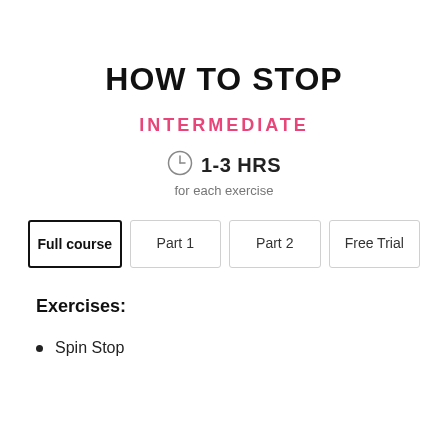HOW TO STOP
INTERMEDIATE
1-3 HRS for each exercise
Full course | Part 1 | Part 2 | Free Trial
Exercises:
Spin Stop